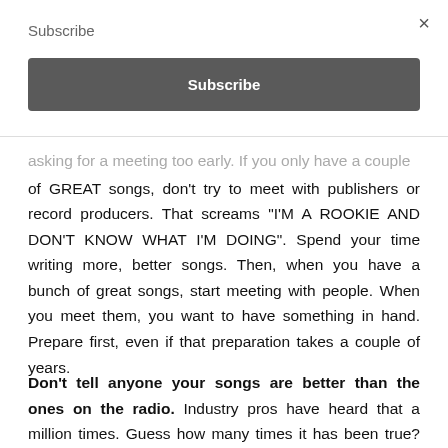Subscribe
Subscribe (button)
...asking for a meeting too early. If you only have a couple of GREAT songs, don't try to meet with publishers or record producers. That screams “I’M A ROOKIE AND DON’T KNOW WHAT I’M DOING”. Spend your time writing more, better songs. Then, when you have a bunch of great songs, start meeting with people. When you meet them, you want to have something in hand. Prepare first, even if that preparation takes a couple of years.
Don’t tell anyone your songs are better than the ones on the radio. Industry pros have heard that a million times. Guess how many times it has been true? Zero. None. Maybe. So is there a way you actually better at something? S...